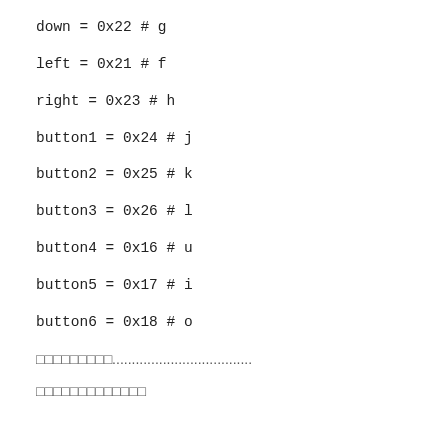down = 0x22 # g
left = 0x21 # f
right = 0x23 # h
button1 = 0x24 # j
button2 = 0x25 # k
button3 = 0x26 # l
button4 = 0x16 # u
button5 = 0x17 # i
button6 = 0x18 # o
....................................